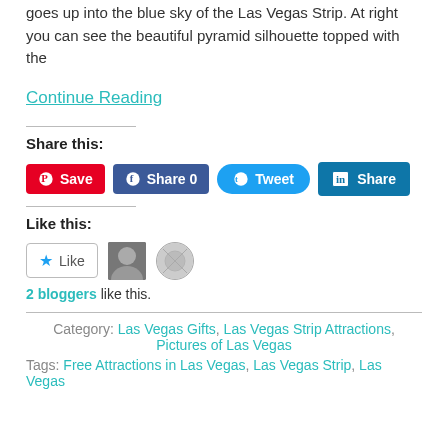goes up into the blue sky of the Las Vegas Strip. At right you can see the beautiful pyramid silhouette topped with the
Continue Reading
Share this:
[Figure (screenshot): Share buttons: Pinterest Save, Facebook Share 0, Twitter Tweet, LinkedIn Share]
Like this:
[Figure (screenshot): Like button with star icon, two blogger avatars, text: 2 bloggers like this.]
Category: Las Vegas Gifts, Las Vegas Strip Attractions, Pictures of Las Vegas
Tags: Free Attractions in Las Vegas, Las Vegas Strip, Las Vegas